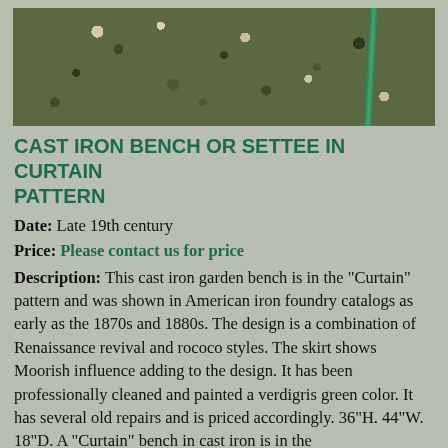[Figure (photo): Photograph of a cast iron garden bench painted verdigris green, shown from above/side angle on a mossy ground surface. A green metal stake or rod is visible on the right side.]
CAST IRON BENCH OR SETTEE IN CURTAIN PATTERN
Date: Late 19th century
Price: Please contact us for price
Description: This cast iron garden bench is in the "Curtain" pattern and was shown in American iron foundry catalogs as early as the 1870s and 1880s. The design is a combination of Renaissance revival and rococo styles. The skirt shows Moorish influence adding to the design. It has been professionally cleaned and painted a verdigris green color. It has several old repairs and is priced accordingly. 36"H. 44"W. 18"D. A "Curtain" bench in cast iron is in the